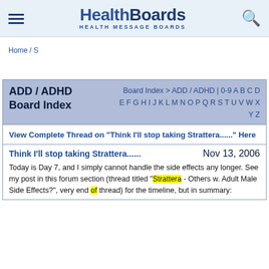HealthBoards — HEALTH MESSAGE BOARDS
Home / S
ADD / ADHD Board Index
Board Index > ADD / ADHD | 0-9 A B C D E F G H I J K L M N O P Q R S T U V W X Y Z
View Complete Thread on "Think I'll stop taking Strattera......" Here
Think I'll stop taking Strattera......
Nov 13, 2006
Today is Day 7, and I simply cannot handle the side effects any longer. See my post in this forum section (thread titled "Strattera - Others w. Adult Male Side Effects?", very end of thread) for the timeline, but in summary: